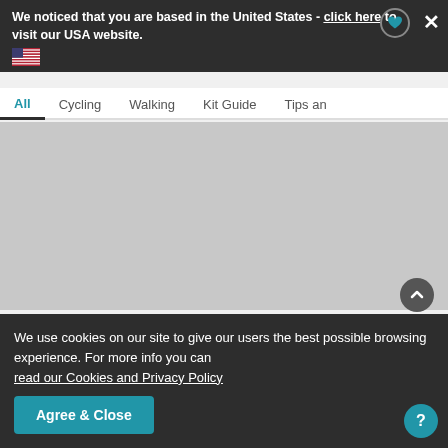We noticed that you are based in the United States - click here to visit our USA website.
All  Cycling  Walking  Kit Guide  Tips and
[Figure (photo): Gray placeholder image representing a photo of the Scottish capital of Edinburgh]
The Scottish capital of Edinburgh.
journeys in Scotland with highlight fami... ch as the cities of Edinburgh and Glasgo...
We use cookies on our site to give our users the best possible browsing experience. For more info you can read our Cookies and Privacy Policy
Agree & Close